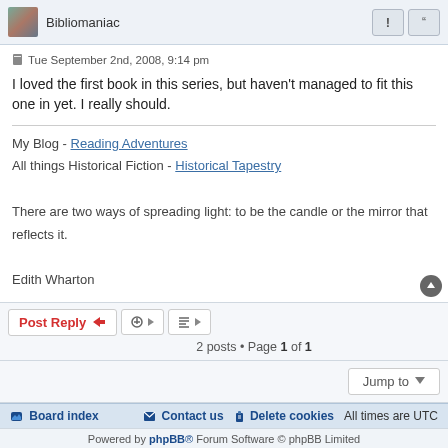Bibliomaniac
Tue September 2nd, 2008, 9:14 pm
I loved the first book in this series, but haven't managed to fit this one in yet. I really should.
My Blog - Reading Adventures
All things Historical Fiction - Historical Tapestry

There are two ways of spreading light: to be the candle or the mirror that reflects it.

Edith Wharton
2 posts • Page 1 of 1
Board index   Contact us   Delete cookies   All times are UTC
Powered by phpBB® Forum Software © phpBB Limited